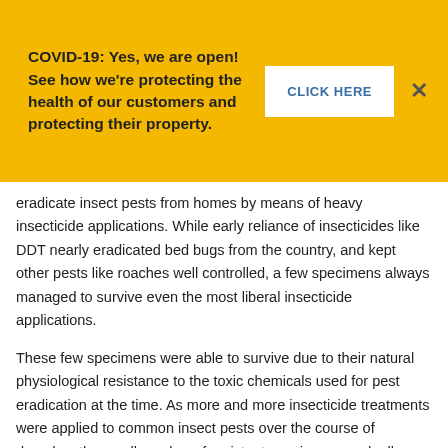COVID-19: Yes, we are open! See how we're protecting the health of our customers and protecting their property.
CLICK HERE
×
eradicate insect pests from homes by means of heavy insecticide applications. While early reliance of insecticides like DDT nearly eradicated bed bugs from the country, and kept other pests like roaches well controlled, a few specimens always managed to survive even the most liberal insecticide applications.
These few specimens were able to survive due to their natural physiological resistance to the toxic chemicals used for pest eradication at the time. As more and more insecticide treatments were applied to common insect pests over the course of decades, the small number of resistant specimens gradually increased until they became the norm. Naturally, the most common